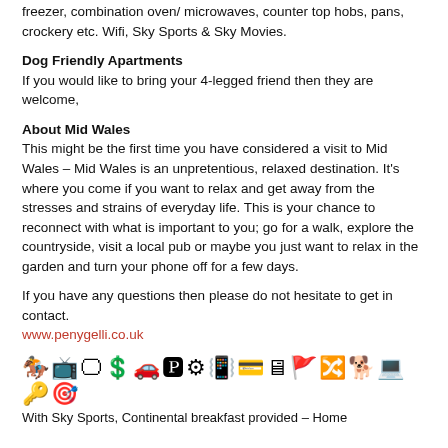freezer, combination oven/ microwaves, counter top hobs, pans, crockery etc. Wifi, Sky Sports & Sky Movies.
Dog Friendly Apartments
If you would like to bring your 4-legged friend then they are welcome,
About Mid Wales
This might be the first time you have considered a visit to Mid Wales – Mid Wales is an unpretentious, relaxed destination. It's where you come if you want to relax and get away from the stresses and strains of everyday life. This is your chance to reconnect with what is important to you; go for a walk, explore the countryside, visit a local pub or maybe you just want to relax in the garden and turn your phone off for a few days.
If you have any questions then please do not hesitate to get in contact.
www.penygelli.co.uk
[Figure (illustration): Row of amenity icons including rocking horse, TV, screen, dollar sign, car, parking, settings, barcode, card, monitor, flag, exchange, dog, laptop, key, and target symbol]
With Sky Sports, Continental breakfast provided – Home